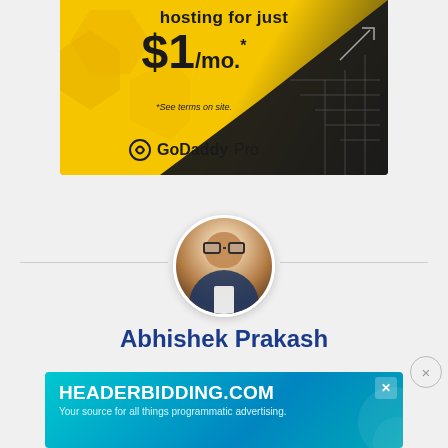[Figure (illustration): GoDaddy Pro advertisement banner showing 'hosting for just $1/mo.*' with yellow geometric background and GoDaddy Pro logo]
[Figure (photo): Circular profile photo of Abhishek Prakash, a man with glasses and a beard, wearing a dark jacket over a white shirt, smiling]
Abhishek Prakash
Creator of It's FOSS. An ardent Linux user & op... classic detective mysteries ranging from Agatha
[Figure (illustration): HEADERBIDDING.COM advertisement banner - 'Your source for all things programmatic advertising.' on blue/teal gradient background with X close button]